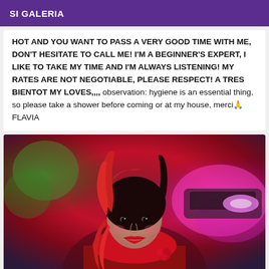SI GALERIA
HOT AND YOU WANT TO PASS A VERY GOOD TIME WITH ME, DON'T HESITATE TO CALL ME! I'M A BEGINNER'S EXPERT, I LIKE TO TAKE MY TIME AND I'M ALWAYS LISTENING! MY RATES ARE NOT NEGOTIABLE, PLEASE RESPECT! A TRES BIENTOT MY LOVES,,,, observation: hygiene is an essential thing, so please take a shower before coming or at my house, merci🙏 FLAVIA
[Figure (photo): A woman with long red and dark hair, wearing a red outfit, smiling at the camera. Background has colorful club-like lighting with green and pink/magenta tones.]